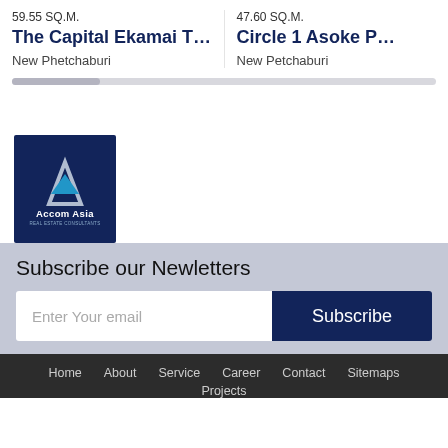59.55 SQ.M.
The Capital Ekamai Thonglor
New Phetchaburi
47.60 SQ.M.
Circle 1 Asoke P…
New Petchaburi
[Figure (logo): Accom Asia Real Estate Consultants logo — dark navy square with white triangle A and blue inverted triangle, text 'Accom Asia' and 'REAL ESTATE CONSULTANTS']
Subscribe our Newletters
Enter Your email
Subscribe
Home   About   Service   Career   Contact   Sitemaps   Projects